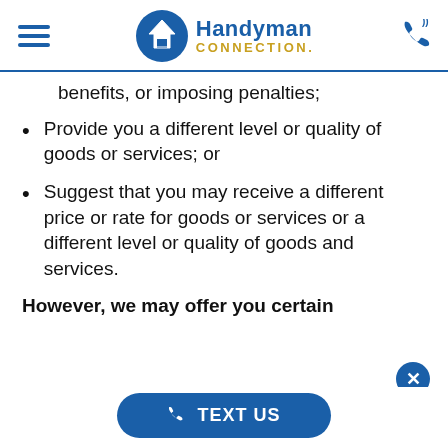Handyman Connection
benefits, or imposing penalties;
Provide you a different level or quality of goods or services; or
Suggest that you may receive a different price or rate for goods or services or a different level or quality of goods and services.
However, we may offer you certain
TEXT US